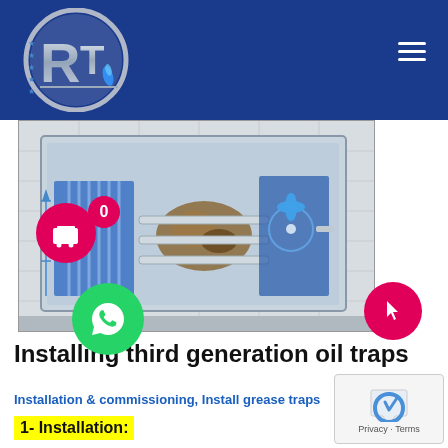RT Plumbing & Engineering Services
[Figure (logo): RT company logo with chrome circular badge, stars, and blue flame, on dark blue header background]
[Figure (photo): Third generation grease trap / oil trap unit shown in cutaway illustration revealing internal components including blue filtration chambers, mechanical separator, and debris compartment]
Installing third generation oil traps
Installation & commissioning, Install grease traps
1- Installation: